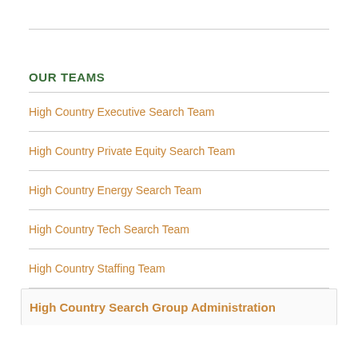OUR TEAMS
High Country Executive Search Team
High Country Private Equity Search Team
High Country Energy Search Team
High Country Tech Search Team
High Country Staffing Team
High Country Search Group Administration